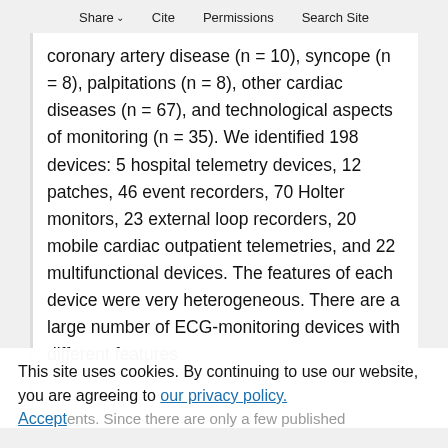Share ∨   Cite   Permissions   Search Site
coronary artery disease (n = 10), syncope (n = 8), palpitations (n = 8), other cardiac diseases (n = 67), and technological aspects of monitoring (n = 35). We identified 198 devices: 5 hospital telemetry devices, 12 patches, 46 event recorders, 70 Holter monitors, 23 external loop recorders, 20 mobile cardiac outpatient telemetries, and 22 multifunctional devices. The features of each device were very heterogeneous. There are a large number of ECG-monitoring devices with different features
This site uses cookies. By continuing to use our website, you are agreeing to our privacy policy. Accept
ents. Since there are only a few published